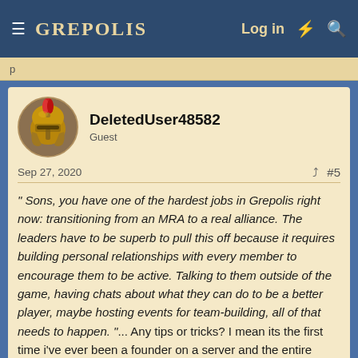GREPOLIS — Log in
p
DeletedUser48582
Guest
Sep 27, 2020 #5
" Sons, you have one of the hardest jobs in Grepolis right now: transitioning from an MRA to a real alliance. The leaders have to be superb to pull this off because it requires building personal relationships with every member to encourage them to be active. Talking to them outside of the game, having chats about what they can do to be a better player, maybe hosting events for team-building, all of that needs to happen. "... Any tips or tricks? I mean its the first time i've ever been a founder on a server and the entire group is together for the very first time. It will take years to build up a relationship 🙁